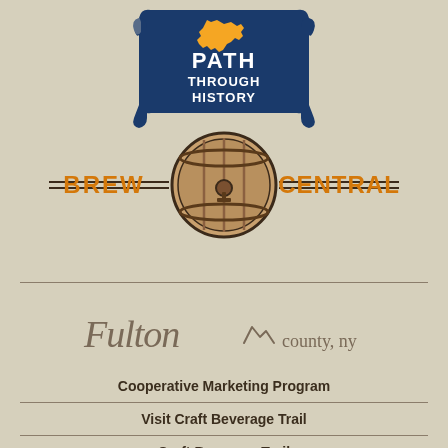[Figure (logo): PATH THROUGH HISTORY logo — blue shield with New York state outline in yellow and text 'PATH THROUGH HISTORY' on a scroll-like banner]
[Figure (logo): BREW CENTRAL logo — wooden barrel in center circle with horizontal double lines and text 'BREW' on left and 'CENTRAL' on right in orange]
[Figure (logo): Fulton county, ny logo in italic script with mountain sketch]
Cooperative Marketing Program
Visit Craft Beverage Trail
Craft Beverage Trail